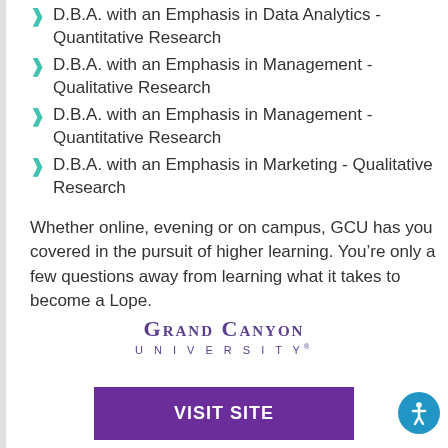D.B.A. with an Emphasis in Data Analytics - Quantitative Research
D.B.A. with an Emphasis in Management - Qualitative Research
D.B.A. with an Emphasis in Management - Quantitative Research
D.B.A. with an Emphasis in Marketing - Qualitative Research
Whether online, evening or on campus, GCU has you covered in the pursuit of higher learning. You’re only a few questions away from learning what it takes to become a Lope.
[Figure (logo): Grand Canyon University logo — text reads GRAND CANYON UNIVERSITY in purple serif font]
VISIT SITE